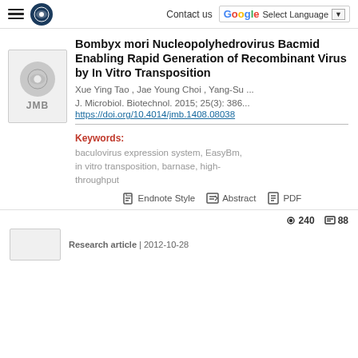Contact us | Select Language
Bombyx mori Nucleopolyhedrovirus Bacmid Enabling Rapid Generation of Recombinant Virus by In Vitro Transposition
Xue Ying Tao , Jae Young Choi , Yang-Su ...
J. Microbiol. Biotechnol. 2015; 25(3): 386...
https://doi.org/10.4014/jmb.1408.08038
Keywords:
baculovirus expression system, EasyBm, in vitro transposition, barnase, high-throughput
Endnote Style   Abstract   PDF
240   88
Research article | 2012-10-28